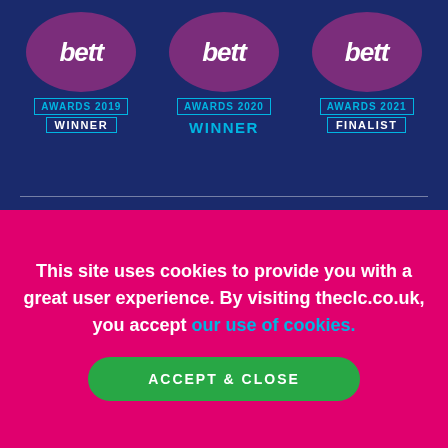[Figure (logo): Three Bett Awards logos side by side on dark navy background: Bett Awards 2019 Winner, Bett Awards 2020 Winner, Bett Awards 2021 Finalist. Each has a purple oval with 'bett' in white italic text, below which is a bordered label showing the year and status in cyan/white text.]
This site uses cookies to provide you with a great user experience. By visiting theclc.co.uk, you accept our use of cookies.